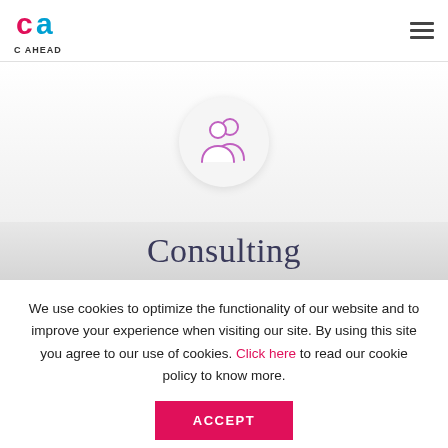C AHEAD
[Figure (illustration): Two person silhouette / consulting icon in pink/purple outline inside a light gray circle]
Consulting
We use cookies to optimize the functionality of our website and to improve your experience when visiting our site. By using this site you agree to our use of cookies. Click here to read our cookie policy to know more.
ACCEPT